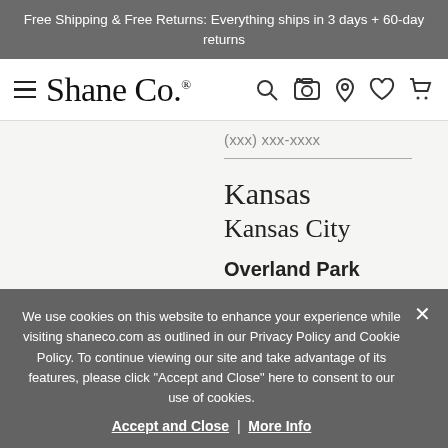Free Shipping & Free Returns: Everything ships in 3 days + 60-day returns
[Figure (logo): Shane Co. logo with hamburger menu and navigation icons (search, camera, location, heart, cart)]
(xxx) xxx-xxxx
Kansas
Kansas City
Overland Park
We use cookies on this website to enhance your experience while visiting shaneco.com as outlined in our Privacy Policy and Cookie Policy. To continue viewing our site and take advantage of its features, please click "Accept and Close" here to consent to our use of cookies.
Accept and Close | More Info